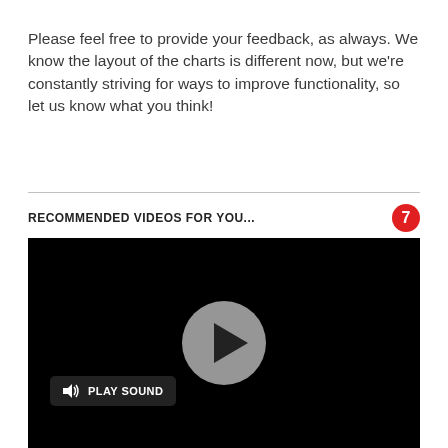Please feel free to provide your feedback, as always. We know the layout of the charts is different now, but we're constantly striving for ways to improve functionality, so let us know what you think!
RECOMMENDED VIDEOS FOR YOU...
[Figure (screenshot): Video player with black background, a grey circular play button in the center, and a 'PLAY SOUND' button with speaker icon in the lower left.]